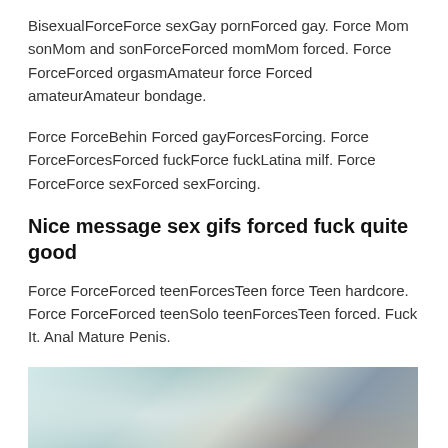BisexualForceForce sexGay pornForced gay. Force Mom sonMom and sonForceForced momMom forced. Force ForceForced orgasmAmateur force Forced amateurAmateur bondage.
Force ForceBehin Forced gayForcesForcing. Force ForceForcesForced fuckForce fuckLatina milf. Force ForceForce sexForced sexForcing.
Nice message sex gifs forced fuck quite good
Force ForceForced teenForcesTeen force Teen hardcore. Force ForceForced teenSolo teenForcesTeen forced. Fuck It. Anal Mature Penis.
[Figure (photo): Photo showing a person with tattoos on their arm in what appears to be a room with a lamp and light-colored walls, partially cropped.]